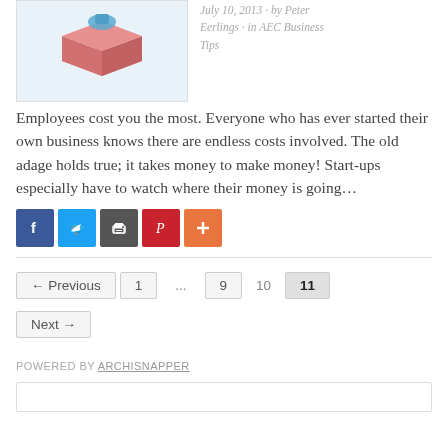[Figure (illustration): A 3D box/package illustration with pink/salmon coloring and a blue element on top, set against a light blue background.]
July 10, 2013 · by Peter Eerlings · in AEC Business Tips
Employees cost you the most. Everyone who has ever started their own business knows there are endless costs involved. The old adage holds true; it takes money to make money! Start-ups especially have to watch where their money is going…
[Figure (infographic): Social sharing buttons: Facebook, Twitter, Print, Pinterest, Plus]
← Previous  1  ...  9  10  11
Next →
POWERED BY ARCHISNAPPER